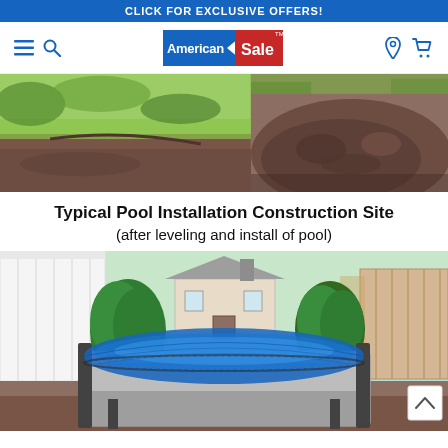CLICK FOR EXCLUSIVE OFFERS!
[Figure (logo): American Sale logo — blue and red brand logo with star/arrow motif]
[Figure (photo): Two construction site photos side by side: left shows grass and ground, right shows dirt/soil mound]
Typical Pool Installation Construction Site (after leveling and install of pool)
[Figure (photo): Above-ground pool with blue solar cover installed in a backyard, surrounded by white vinyl fence, shrubs, house in background, dirt ground around pool base]